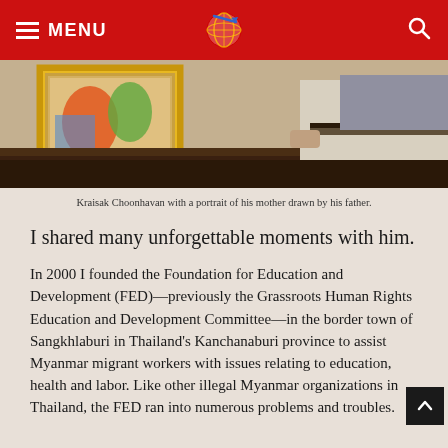MENU [navigation bar with globe logo and search icon]
[Figure (photo): Partial photo of Kraisak Choonhavan with a portrait painting of his mother drawn by his father, showing framed artwork with gold frame and person in light-colored trousers]
Kraisak Choonhavan with a portrait of his mother drawn by his father.
I shared many unforgettable moments with him.
In 2000 I founded the Foundation for Education and Development (FED)—previously the Grassroots Human Rights Education and Development Committee—in the border town of Sangkhlaburi in Thailand's Kanchanaburi province to assist Myanmar migrant workers with issues relating to education, health and labor. Like other illegal Myanmar organizations in Thailand, the FED ran into numerous problems and troubles.